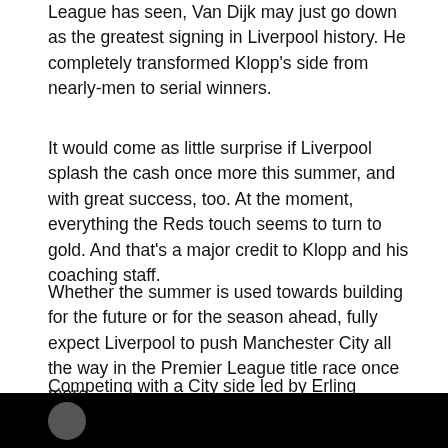League has seen, Van Dijk may just go down as the greatest signing in Liverpool history. He completely transformed Klopp’s side from nearly-men to serial winners.
It would come as little surprise if Liverpool splash the cash once more this summer, and with great success, too. At the moment, everything the Reds touch seems to turn to gold. And that’s a major credit to Klopp and his coaching staff.
Whether the summer is used towards building for the future or for the season ahead, fully expect Liverpool to push Manchester City all the way in the Premier League title race once more.
Competing with a City side led by Erling Haaland will be difficult, but the Reds will no doubt have their own transfer strategy in mind this summer.
[Figure (photo): Black bar at the bottom of the page with a circular profile image element]